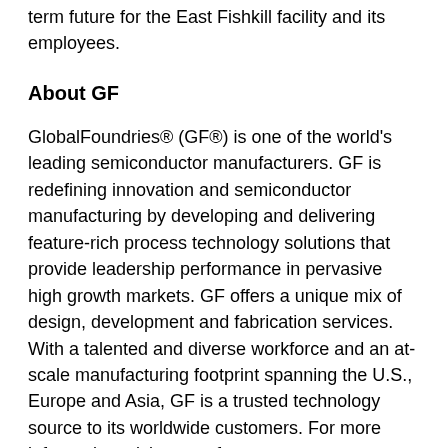term future for the East Fishkill facility and its employees.
About GF
GlobalFoundries® (GF®) is one of the world's leading semiconductor manufacturers. GF is redefining innovation and semiconductor manufacturing by developing and delivering feature-rich process technology solutions that provide leadership performance in pervasive high growth markets. GF offers a unique mix of design, development and fabrication services. With a talented and diverse workforce and an at-scale manufacturing footprint spanning the U.S., Europe and Asia, GF is a trusted technology source to its worldwide customers. For more information, visit www.gf.com.
Contact: